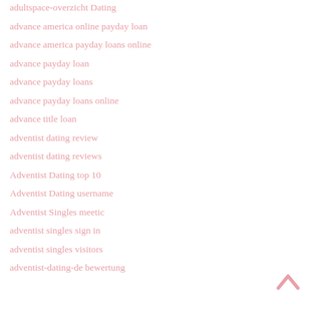adultspace-overzicht Dating
advance america online payday loan
advance america payday loans online
advance payday loan
advance payday loans
advance payday loans online
advance title loan
adventist dating review
adventist dating reviews
Adventist Dating top 10
Adventist Dating username
Adventist Singles meetic
adventist singles sign in
adventist singles visitors
adventist-dating-de bewertung
[Figure (other): Back to top arrow icon (chevron/caret pointing upward) in pink/rose color]